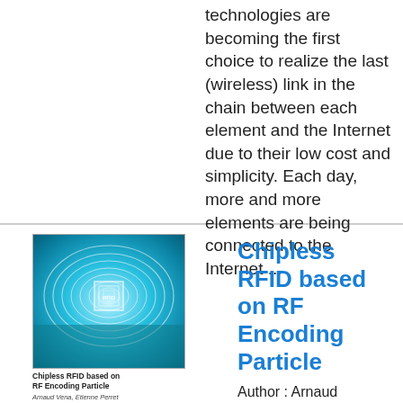technologies are becoming the first choice to realize the last (wireless) link in the chain between each element and the Internet due to their low cost and simplicity. Each day, more and more elements are being connected to the Internet ...
[Figure (illustration): Book cover of 'Chipless RFID based on RF Encoding Particle' showing a teal/cyan spiral antenna design on a blue background, with authors Arnaud Vena, Etienne Perret and Smail Tedjini, publisher ISTE/Elsevier logo at bottom.]
Chipless RFID based on RF Encoding Particle
Author : Arnaud Vena,Etienne Perret,Smail